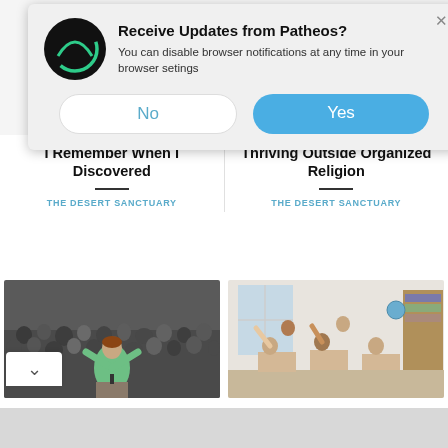[Figure (screenshot): Browser push notification dialog for Patheos website. Shows Patheos logo (black circle with green spiral), title 'Receive Updates from Patheos?', body text 'You can disable browser notifications at any time in your browser setings', and two buttons: 'No' (white/outlined) and 'Yes' (blue). An X close button is in the top right.]
I Remember When I Discovered
THE DESERT SANCTUARY
Thriving Outside Organized Religion
THE DESERT SANCTUARY
[Figure (photo): Photo of a woman in a green outfit speaking at a podium in front of a large crowd, arms raised.]
[Figure (photo): Photo of students in a classroom, some with hands raised, sitting at desks.]